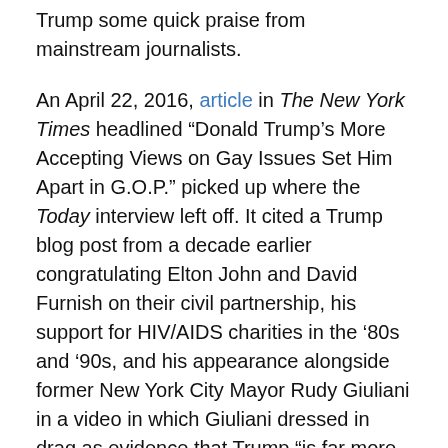Trump some quick praise from mainstream journalists.
An April 22, 2016, article in The New York Times headlined “Donald Trump’s More Accepting Views on Gay Issues Set Him Apart in G.O.P.” picked up where the Today interview left off. It cited a Trump blog post from a decade earlier congratulating Elton John and David Furnish on their civil partnership, his support for HIV/AIDS charities in the ‘80s and ’90s, and his appearance alongside former New York City Mayor Rudy Giuliani in a video in which Giuliani dressed in drag as evidence that Trump “is far more accepting of sexual minorities than his party’s leaders have been.” In contrast, Trump’s opposition to marriage equality and his “recent alliances with social conservatives such as Jerry Falwell Jr. and Pat Robertson” were treated as minor footnotes.
That night on NBC Nightly News, correspondent Hallie